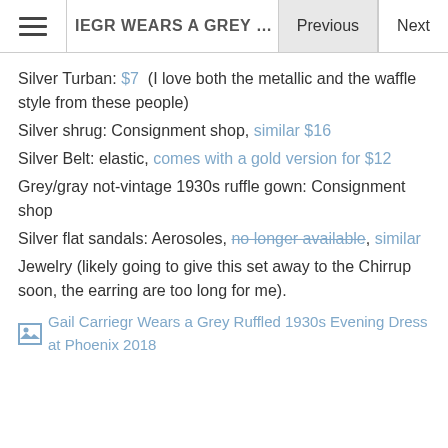IEGR WEARS A GREY RUFFLED 1930S EVENING | Previous | Next
Silver Turban: $7  (I love both the metallic and the waffle style from these people)
Silver shrug: Consignment shop, similar $16
Silver Belt: elastic, comes with a gold version for $12
Grey/gray not-vintage 1930s ruffle gown: Consignment shop
Silver flat sandals: Aerosoles, no longer available, similar
Jewelry (likely going to give this set away to the Chirrup soon, the earring are too long for me).
[Figure (photo): Broken image placeholder: Gail Carriegr Wears a Grey Ruffled 1930s Evening Dress at Phoenix 2018]